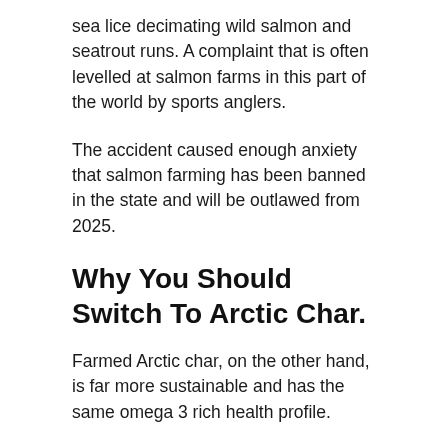sea lice decimating wild salmon and seatrout runs. A complaint that is often levelled at salmon farms in this part of the world by sports anglers.
The accident caused enough anxiety that salmon farming has been banned in the state and will be outlawed from 2025.
Why You Should Switch To Arctic Char.
Farmed Arctic char, on the other hand, is far more sustainable and has the same omega 3 rich health profile.